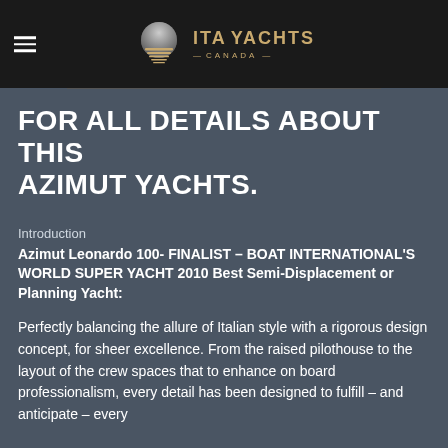[Figure (logo): ITA Yachts Canada logo with circular sun/horizon icon and gold text on black background]
FOR ALL DETAILS ABOUT THIS AZIMUT YACHTS.
Introduction
Azimut Leonardo 100- FINALIST – BOAT INTERNATIONAL'S WORLD SUPER YACHT 2010 Best Semi-Displacement or Planning Yacht:
Perfectly balancing the allure of Italian style with a rigorous design concept, for sheer excellence. From the raised pilothouse to the layout of the crew spaces that to enhance on board professionalism, every detail has been designed to fulfill – and anticipate – every